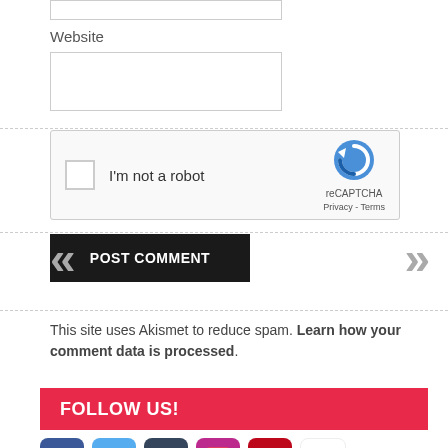Website
[Figure (screenshot): reCAPTCHA widget with checkbox labeled 'I'm not a robot' and reCAPTCHA logo with Privacy - Terms links]
POST COMMENT
This site uses Akismet to reduce spam. Learn how your comment data is processed.
FOLLOW US!
[Figure (infographic): Social media icons: Facebook, Twitter, Tumblr, Instagram, Pinterest, YouTube]